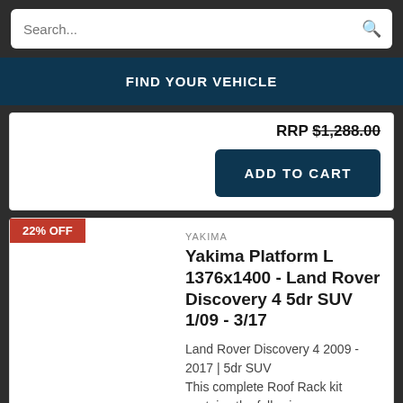Search...
FIND YOUR VEHICLE
RRP $1,288.00
ADD TO CART
22% OFF
YAKIMA
Yakima Platform L 1376x1400 - Land Rover Discovery 4 5dr SUV 1/09 - 3/17
Land Rover Discovery 4 2009 - 2017 | 5dr SUV
This complete Roof Rack kit contains the following components: